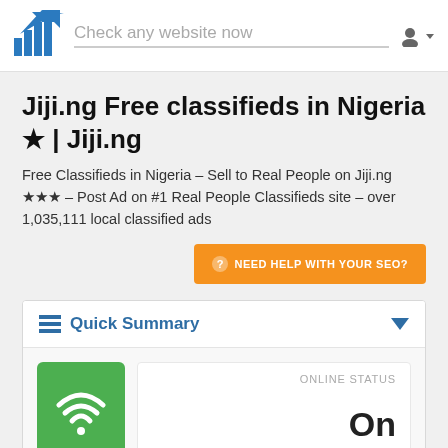Check any website now
Jiji.ng Free classifieds in Nigeria ★ | Jiji.ng
Free Classifieds in Nigeria – Sell to Real People on Jiji.ng ★★★ – Post Ad on #1 Real People Classifieds site – over 1,035,111 local classified ads
NEED HELP WITH YOUR SEO?
Quick Summary
ONLINE STATUS